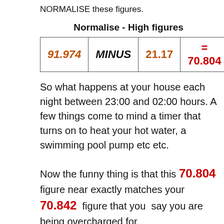NORMALISE these figures.
Normalise - High figures
| 91.974 | MINUS | 21.17 | = 70.804 |
So what happens at your house each night between 23:00 and 02:00 hours. A few things come to mind a timer that turns on to heat your hot water, a swimming pool pump etc etc.
Now the funny thing is that this 70.804 figure near exactly matches your 70.842 figure that you say you are being overcharged for.